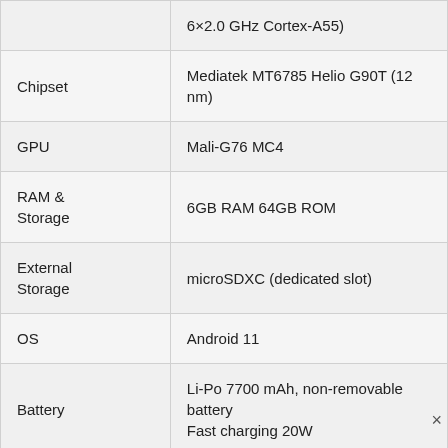| Feature | Details |
| --- | --- |
| 6×2.0 GHz Cortex-A55 |  |
| Chipset | Mediatek MT6785 Helio G90T (12 nm) |
| GPU | Mali-G76 MC4 |
| RAM & Storage | 6GB RAM 64GB ROM |
| External Storage | microSDXC (dedicated slot) |
| OS | Android 11 |
| Battery | Li-Po 7700 mAh, non-removable battery
Fast charging 20W |